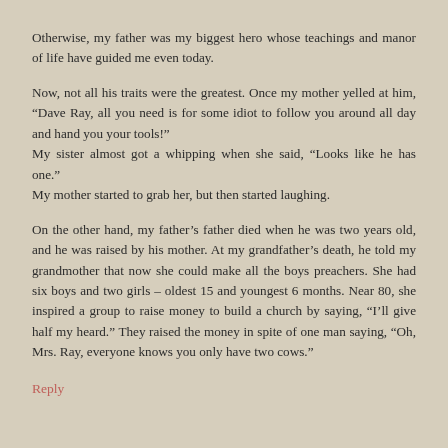Otherwise, my father was my biggest hero whose teachings and manor of life have guided me even today.
Now, not all his traits were the greatest. Once my mother yelled at him, “Dave Ray, all you need is for some idiot to follow you around all day and hand you your tools!"
My sister almost got a whipping when she said, “Looks like he has one."
My mother started to grab her, but then started laughing.
On the other hand, my father’s father died when he was two years old, and he was raised by his mother. At my grandfather’s death, he told my grandmother that now she could make all the boys preachers. She had six boys and two girls – oldest 15 and youngest 6 months. Near 80, she inspired a group to raise money to build a church by saying, “I’ll give half my heard.” They raised the money in spite of one man saying, “Oh, Mrs. Ray, everyone knows you only have two cows.”
Reply